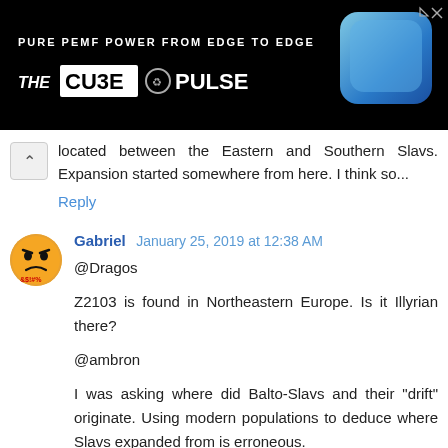[Figure (other): Advertisement banner with black background. Text reads: 'PURE PEMF POWER FROM EDGE TO EDGE' and 'THE CU3E PULSE' with a blue rounded square device image on the right.]
located between the Eastern and Southern Slavs. Expansion started somewhere from here. I think so...
Reply
Gabriel  January 25, 2019 at 12:38 AM
@Dragos

Z2103 is found in Northeastern Europe. Is it Illyrian there?

@ambron

I was asking where did Balto-Slavs and their "drift" originate. Using modern populations to deduce where Slavs expanded from is erroneous.
Reply